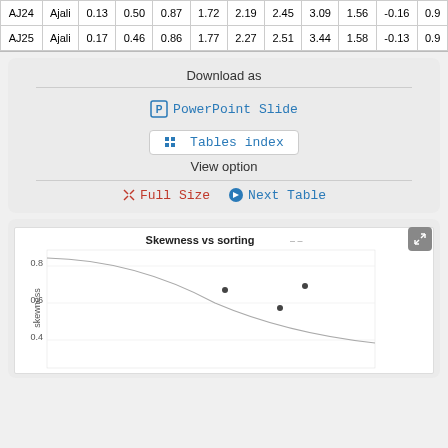|  |  |  |  |  |  |  |  |  |  |  |  |
| --- | --- | --- | --- | --- | --- | --- | --- | --- | --- | --- | --- |
| AJ24 | Ajali | 0.13 | 0.50 | 0.87 | 1.72 | 2.19 | 2.45 | 3.09 | 1.56 | -0.16 | 0.9… |
| AJ25 | Ajali | 0.17 | 0.46 | 0.86 | 1.77 | 2.27 | 2.51 | 3.44 | 1.58 | -0.13 | 0.9… |
Download as
PowerPoint Slide
Tables index
View option
Full Size   Next Table
[Figure (continuous-plot): Scatter plot with a curve showing Skewness vs sorting. Y-axis shows skewness values 0.4, 0.6, 0.8. Several data points visible. A curved line descends from top left.]